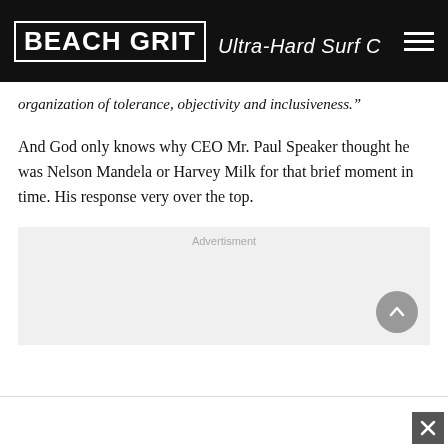BEACH GRIT Ultra-Hard Surf Candy
organization of tolerance, objectivity and inclusiveness.”
And God only knows why CEO Mr. Paul Speaker thought he was Nelson Mandela or Harvey Milk for that brief moment in time. His response very over the top.
[Figure (other): Advertisement placeholder box with 'Advertisment' label and a scroll-to-top circular button in the bottom right corner]
[Figure (other): Bottom bar with a close/X button in the bottom right corner]